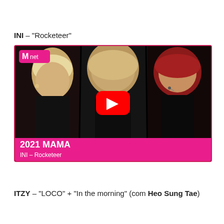INI – "Rocketeer"
[Figure (screenshot): YouTube video thumbnail from Mnet showing 2021 MAMA performance by INI – Rocketeer. Three K-pop male performers side by side: left has blonde hair, center has blonde/brown hair with YouTube play button overlay, right has red hair with microphone. Pink Mnet logo top-left. Bottom pink banner reads '2021 MAMA / INI – Rocketeer'.]
ITZY – "LOCO" + "In the morning" (com Heo Sung Tae)